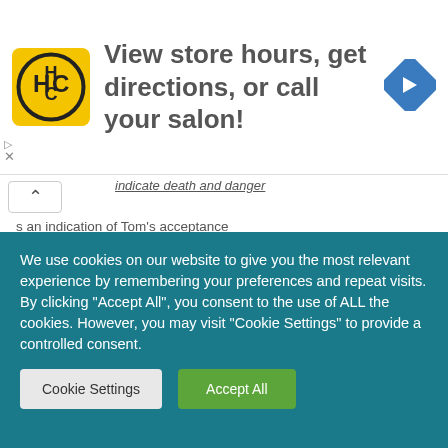[Figure (other): Advertisement banner for HC salon with yellow logo, text 'View store hours, get directions, or call your salon!', and a blue navigation arrow icon]
indicate death and danger
s an indication of Tom's acceptance
'very' highlights the urgency of the action
STANZA -3 LINE – 2
As Tom was a-sleeping he had such a sight! [a]
Arouses the curiosity of the reader as the line itself does not reveal the
We use cookies on our website to give you the most relevant experience by remembering your preferences and repeat visits. By clicking "Accept All", you consent to the use of ALL the cookies. However, you may visit "Cookie Settings" to provide a controlled consent.